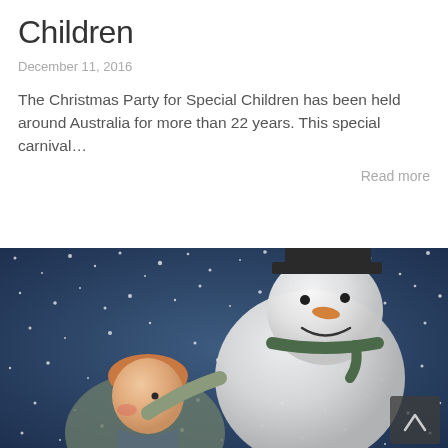Children
December 11, 2016
The Christmas Party for Special Children has been held around Australia for more than 22 years. This special carnival...
Read more
[Figure (illustration): Illustration of a snowman with a hat and scarf embracing a young boy with red hair, set against a snowy night sky background with white snow dots.]